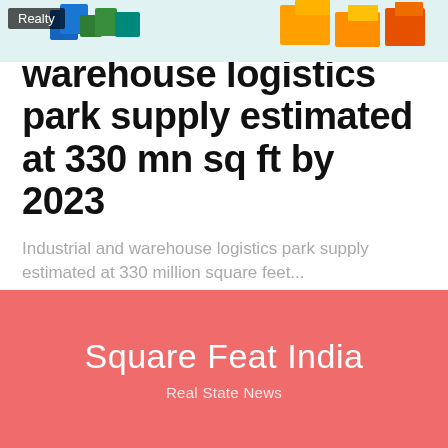[Figure (illustration): Warehouse and logistics isometric illustration with colorful crates and shipping containers, with 'Realty' badge overlay]
Industrial and warehouse logistics park supply estimated at 330 mn sq ft by 2023
Industrial and warehouse logistics park supply estimated at 330 million square feet...
SquareFeatIndia · August 16, 2022
Square Feat India
Real State News